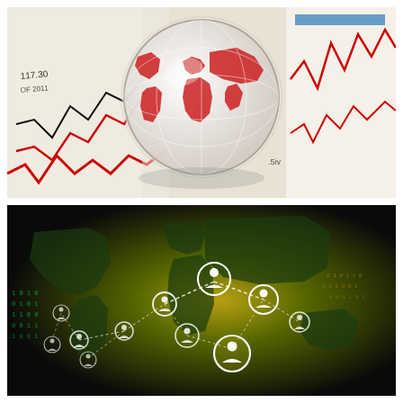[Figure (photo): A glass globe orb with red continents (world map motif) resting on financial newspaper/chart pages showing red and black line graphs, stock charts, and financial data. The globe reflects light and sits prominently in the center of scattered financial documents.]
[Figure (illustration): A dark background global network visualization showing a world map silhouette in dark green/yellow tones with interconnected nodes represented as white circle icons with person/user figures, connected by dotted white lines forming a network graph. Binary code text (0s and 1s) is visible in green on the left side. The network represents global social or business connectivity.]